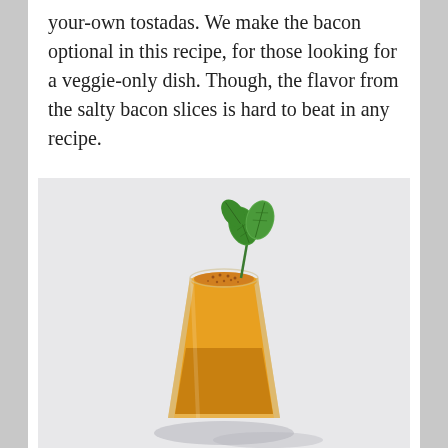your-own tostadas. We make the bacon optional in this recipe, for those looking for a veggie-only dish. Though, the flavor from the salty bacon slices is hard to beat in any recipe.
[Figure (photo): A glass tumbler filled with a golden-orange smoothie or juice, topped with brown spice powder (such as cinnamon or nutmeg), garnished with a fresh green mint sprig. The glass casts a shadow on a light gray-white surface.]